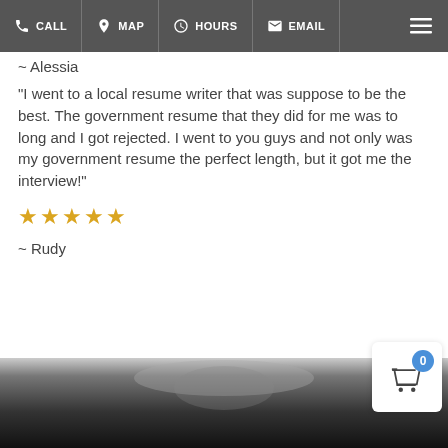CALL  MAP  HOURS  EMAIL
~ Alessia
"I went to a local resume writer that was suppose to be the best. The government resume that they did for me was to long and I got rejected.  I went to you guys and not only was my government resume the perfect length, but it got me the interview!"
★★★★★
~ Rudy
[Figure (photo): Dark background photo showing a person in black clothing holding up a large white sheet of paper, partially obscuring their face. Bottom portion of the page.]